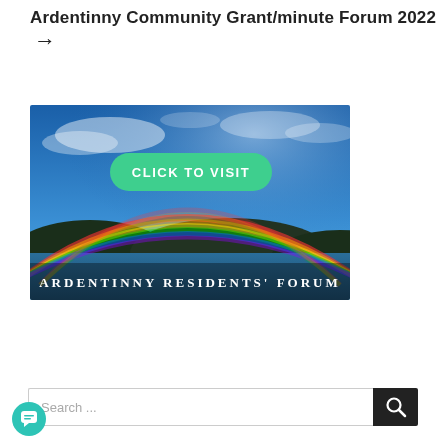Ardentinny Community Grant/minute Forum 2022 →
[Figure (photo): Outdoor photo showing a rainbow over a bay with hills in the background and a blue sky with clouds. Overlaid with a green 'CLICK TO VISIT' button and text 'ARDENTINNY RESIDENTS' FORUM' at the bottom.]
Search ...